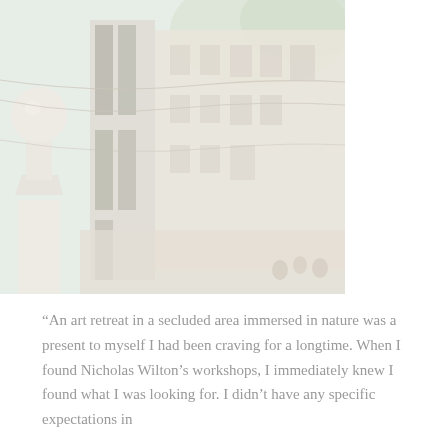[Figure (photo): A washed-out, faded photo of a European street scene, likely in a Mediterranean town. In the foreground on the left is a white stone ornamental post topped with a sphere. Behind it is a narrow street with old cream/beige multi-storey buildings with shuttered windows. Wires cross overhead. In the background, green hills or trees are visible. The image has a very high-key, desaturated, almost overexposed quality.]
“An art retreat in a secluded area immersed in nature was a present to myself I had been craving for a longtime. When I found Nicholas Wilton’s workshops, I immediately knew I found what I was looking for. I didn’t have any specific expectations in